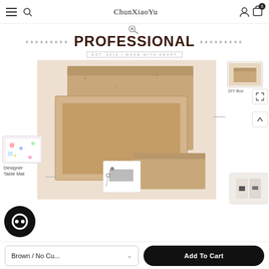ChunXiaoYu
[Figure (illustration): Small magnifying glass icon above the PROFESSIONAL banner]
PROFESSIONAL
EST. 2015 | MADE WITH HEART
[Figure (photo): Product photo showing brown kraft paper DIY gift boxes open and closed on a cream background, with a small card/tag visible]
DIY Box
Designer Table Mat
Brown / No Cu...
Add To Cart